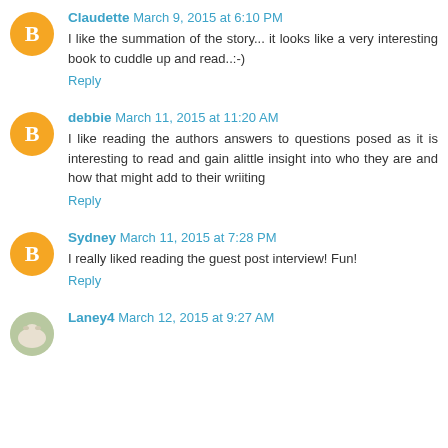Claudette March 9, 2015 at 6:10 PM
I like the summation of the story... it looks like a very interesting book to cuddle up and read..:-)
Reply
debbie March 11, 2015 at 11:20 AM
I like reading the authors answers to questions posed as it is interesting to read and gain alittle insight into who they are and how that might add to their wriiting
Reply
Sydney March 11, 2015 at 7:28 PM
I really liked reading the guest post interview! Fun!
Reply
Laney4 March 12, 2015 at 9:27 AM